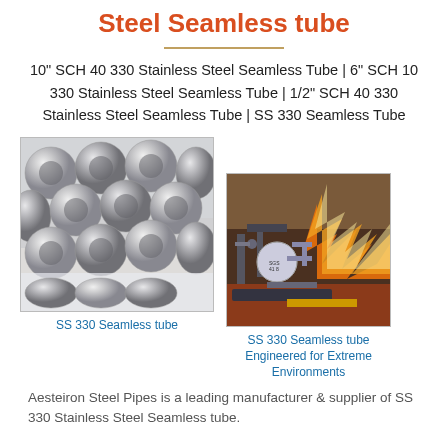Steel Seamless tube
10" SCH 40 330 Stainless Steel Seamless Tube | 6" SCH 10 330 Stainless Steel Seamless Tube | 1/2" SCH 40 330 Stainless Steel Seamless Tube | SS 330 Seamless Tube
[Figure (photo): Bundle of stainless steel seamless tubes stacked together, showing circular cross-sections]
SS 330 Seamless tube
[Figure (photo): Industrial gas processing facility with large flames in the background, showing pipes and pressure vessels]
SS 330 Seamless tube Engineered for Extreme Environments
Aesteiron Steel Pipes is a leading manufacturer & supplier of SS 330 Stainless Steel Seamless tube.